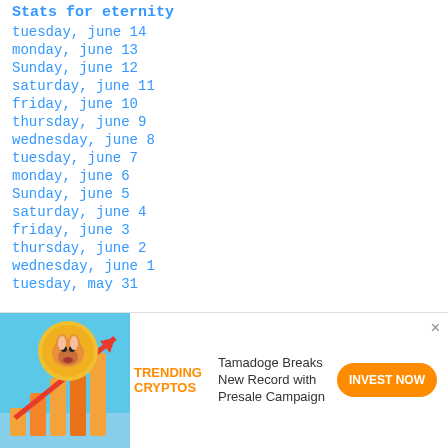Stats for eternity
tuesday, june 14
monday, june 13
Sunday, june 12
saturday, june 11
friday, june 10
thursday, june 9
wednesday, june 8
tuesday, june 7
monday, june 6
Sunday, june 5
saturday, june 4
friday, june 3
thursday, june 2
wednesday, june 1
tuesday, may 31
[Figure (infographic): Advertisement banner featuring Tamadoge cryptocurrency with a dog coin image, bar chart, and upward arrow. Text: TRENDING CRYPTOS, Tamadoge Breaks New Record with Presale Campaign, INVEST NOW button.]